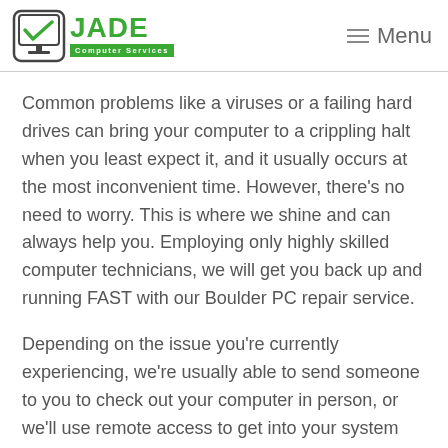JADE Computer Services — Menu
Common problems like a viruses or a failing hard drives can bring your computer to a crippling halt when you least expect it, and it usually occurs at the most inconvenient time. However, there’s no need to worry. This is where we shine and can always help you. Employing only highly skilled computer technicians, we will get you back up and running FAST with our Boulder PC repair service.
Depending on the issue you’re currently experiencing, we’re usually able to send someone to you to check out your computer in person, or we’ll use remote access to get into your system and fix the problem remotely. It’s not uncommon for us to get one of our techs to your home or business within a single business day, and they can typically